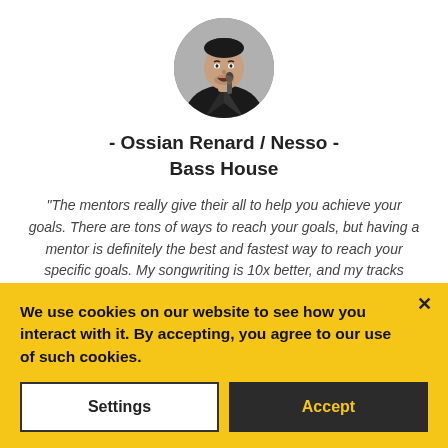[Figure (photo): Circular black and white profile photo of a male singer performing with a microphone]
- Ossian Renard / Nesso -
Bass House
"The mentors really give their all to help you achieve your goals. There are tons of ways to reach your goals, but having a mentor is definitely the best and fastest way to reach your specific goals. My songwriting is 10x better, and my tracks sound so much bigger and fuller."
Single "My House" (finished in the
We use cookies on our website to see how you interact with it. By accepting, you agree to our use of such cookies.
Settings
Accept